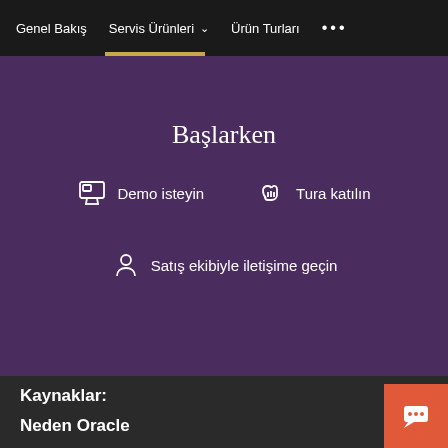Genel Bakış   Servis Ürünleri ▾   Ürün Turları   •••
Başlarken
Demo isteyin
Tura katılın
Satış ekibiyle iletişime geçin
Kaynaklar:
Neden Oracle